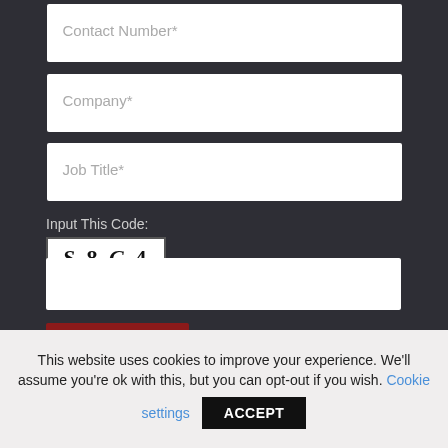[Figure (screenshot): Web form with dark background showing input fields for Contact Number, Company, and Job Title, a CAPTCHA code input section showing 'S8C4', a blank code entry field, and a red SUBSCRIBE button at the bottom.]
Contact Number*
Company*
Job Title*
Input This Code:
S 8 C 4
SUBSCRIBE
This website uses cookies to improve your experience. We'll assume you're ok with this, but you can opt-out if you wish. Cookie settings ACCEPT